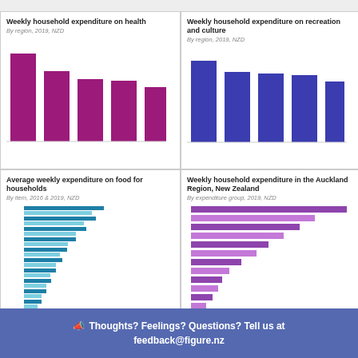[Figure (bar-chart): Weekly household expenditure on health]
[Figure (bar-chart): Weekly household expenditure on recreation and culture]
[Figure (bar-chart): Average weekly expenditure on food for households]
[Figure (bar-chart): Weekly household expenditure in the Auckland Region, New Zealand]
Thoughts? Feelings? Questions? Tell us at feedback@figure.nz